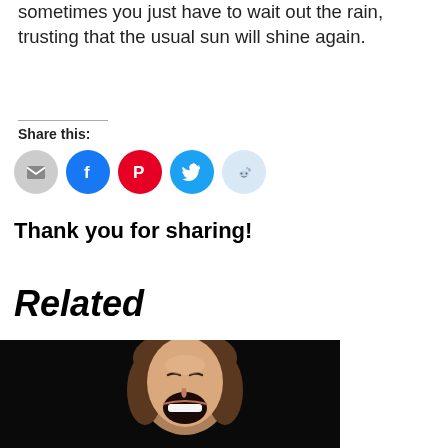sometimes you just have to wait out the rain, trusting that the usual sun will shine again.
Share this:
[Figure (infographic): Row of social share buttons: email (gray), Facebook (blue), Pinterest (red), Twitter (blue), Reddit (light blue)]
Thank you for sharing!
Related
[Figure (photo): A woman laughing with mouth wide open, face tilted upward, against a dark background]